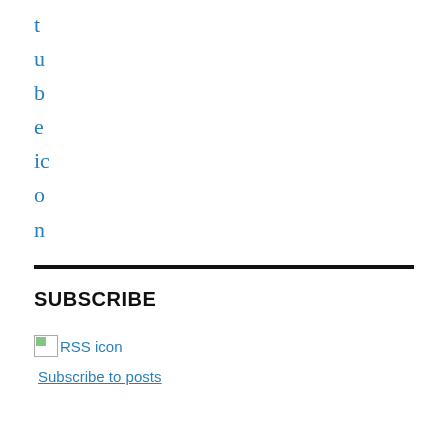t u b e ic o n
SUBSCRIBE
[Figure (illustration): Broken image placeholder for RSS icon with partial green square visible and alt text 'RSS icon']
Subscribe to posts